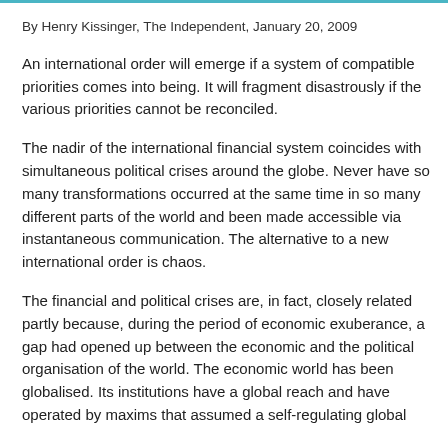By Henry Kissinger, The Independent, January 20, 2009
An international order will emerge if a system of compatible priorities comes into being. It will fragment disastrously if the various priorities cannot be reconciled.
The nadir of the international financial system coincides with simultaneous political crises around the globe. Never have so many transformations occurred at the same time in so many different parts of the world and been made accessible via instantaneous communication. The alternative to a new international order is chaos.
The financial and political crises are, in fact, closely related partly because, during the period of economic exuberance, a gap had opened up between the economic and the political organisation of the world. The economic world has been globalised. Its institutions have a global reach and have operated by maxims that assumed a self-regulating global